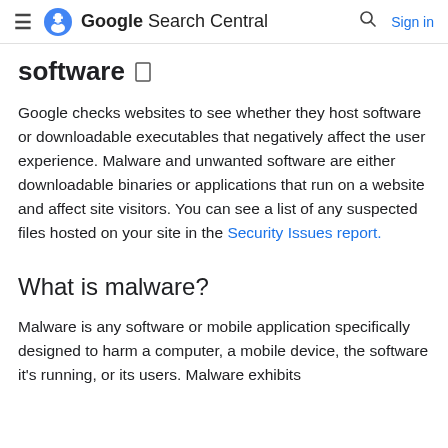Google Search Central  Sign in
software
Google checks websites to see whether they host software or downloadable executables that negatively affect the user experience. Malware and unwanted software are either downloadable binaries or applications that run on a website and affect site visitors. You can see a list of any suspected files hosted on your site in the Security Issues report.
What is malware?
Malware is any software or mobile application specifically designed to harm a computer, a mobile device, the software it's running, or its users. Malware exhibits